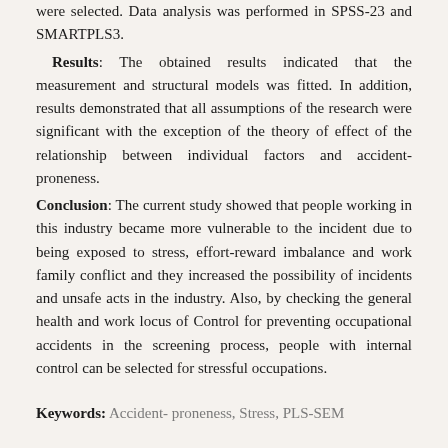were selected. Data analysis was performed in SPSS-23 and SMARTPLS3.
Results: The obtained results indicated that the measurement and structural models was fitted. In addition, results demonstrated that all assumptions of the research were significant with the exception of the theory of effect of the relationship between individual factors and accident- proneness.
Conclusion: The current study showed that people working in this industry became more vulnerable to the incident due to being exposed to stress, effort-reward imbalance and work family conflict and they increased the possibility of incidents and unsafe acts in the industry. Also, by checking the general health and work locus of Control for preventing occupational accidents in the screening process, people with internal control can be selected for stressful occupations.
Keywords: Accident- proneness, Stress, PLS-SEM